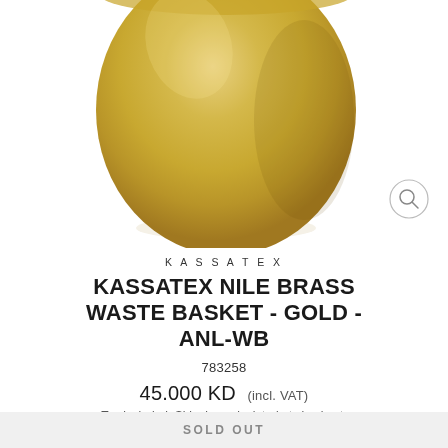[Figure (photo): Gold/brass colored round waste basket, showing the upper portion and body of the basket against a white background]
KASSATEX
KASSATEX NILE BRASS WASTE BASKET - GOLD - ANL-WB
783258
45.000 KD  (incl. VAT)
Tax included. Shipping calculated at checkout.
SOLD OUT